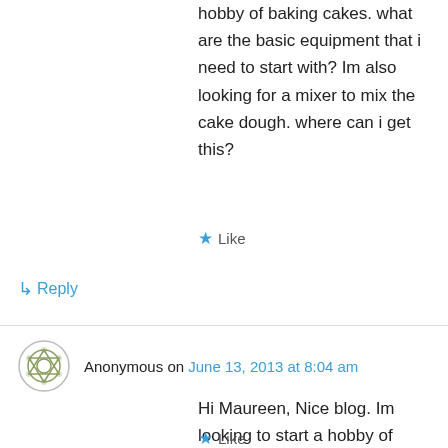Hi Maureen, Nice article. I would like to start a hobby of baking cakes. what are the basic equipment that i need to start with? Im also looking for a mixer to mix the cake dough. where can i get this?
★ Like
↳ Reply
Anonymous on June 13, 2013 at 8:04 am
Hi Maureen, Nice blog. Im looking to start a hobby of baking. What are the basic equipment that i need to have. i'm also looking for a mixer- one that i can use to mix the cake dough. Are they available in sized and where can i get this?
★ Like